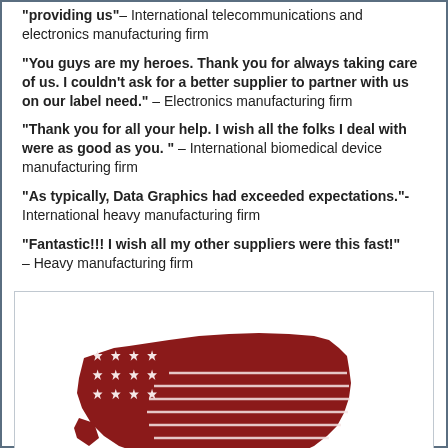"providing us" – International telecommunications and electronics manufacturing firm
"You guys are my heroes. Thank you for always taking care of us. I couldn't ask for a better supplier to partner with us on our label need." – Electronics manufacturing firm
"Thank you for all your help. I wish all the folks I deal with were as good as you. " – International biomedical device manufacturing firm
"As typically, Data Graphics had exceeded expectations."- International heavy manufacturing firm
"Fantastic!!! I wish all my other suppliers were this fast!" – Heavy manufacturing firm
[Figure (logo): USA map styled as American flag in dark red/maroon, with stars on the left and horizontal stripes across. Text reads www.DataGraphicsinc.com and 800-766-7820]